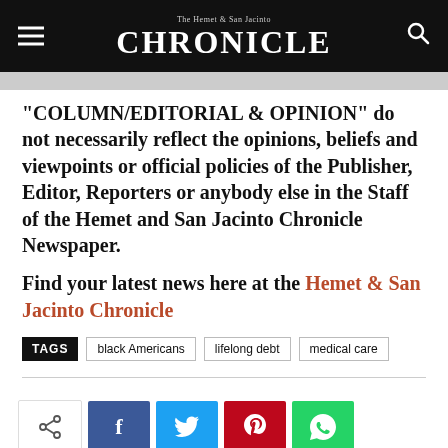The Hemet & San Jacinto CHRONICLE
“COLUMN/EDITORIAL & OPINION” do not necessarily reflect the opinions, beliefs and viewpoints or official policies of the Publisher, Editor, Reporters or anybody else in the Staff of the Hemet and San Jacinto Chronicle Newspaper.
Find your latest news here at the Hemet & San Jacinto Chronicle
TAGS  black Americans  lifelong debt  medical care